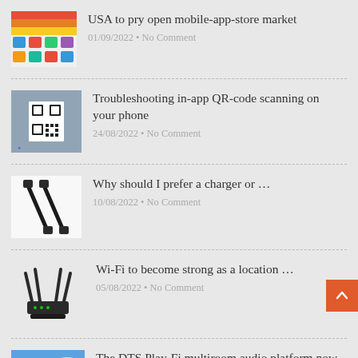USA to pry open mobile-app-store market
01/09/2022 • No Comment
Troubleshooting in-app QR-code scanning on your phone
24/08/2022 • No Comment
Why should I prefer a charger or …
10/08/2022 • No Comment
Wi-Fi to become strong as a location …
05/08/2022 • No Comment
The DTS Play-Fi multiroom audio platform now …
26/07/2022 • No Comment